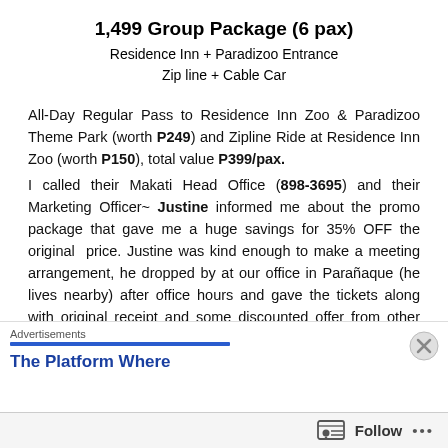1,499 Group Package (6 pax)
Residence Inn + Paradizoo Entrance
Zip line + Cable Car
All-Day Regular Pass to Residence Inn Zoo & Paradizoo Theme Park (worth P249) and Zipline Ride at Residence Inn Zoo (worth P150), total value P399/pax.
I called their Makati Head Office (898-3695) and their Marketing Officer~ Justine informed me about the promo package that gave me a huge savings for 35% OFF the original price. Justine was kind enough to make a meeting arrangement, he dropped by at our office in Parañaque (he lives nearby) after office hours and gave the tickets along with original receipt and some discounted offer from other zoomanity events.
Residence Inn Zoo and Paradizoo are just a stone throw away
Advertisements
The Platform Where